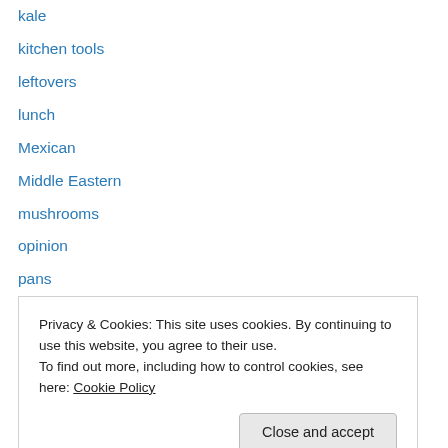kale
kitchen tools
leftovers
lunch
Mexican
Middle Eastern
mushrooms
opinion
pans
pasta
peppers
pickles
pie
Privacy & Cookies: This site uses cookies. By continuing to use this website, you agree to their use.
To find out more, including how to control cookies, see here: Cookie Policy
roasting